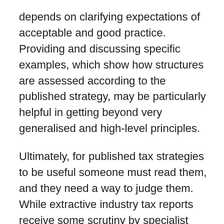depends on clarifying expectations of acceptable and good practice. Providing and discussing specific examples, which show how structures are assessed according to the published strategy, may be particularly helpful in getting beyond very generalised and high-level principles.
Ultimately, for published tax strategies to be useful someone must read them, and they need a way to judge them. While extractive industry tax reports receive some scrutiny by specialist NGOs and local media, concerned with assessing the revenues from mining and oil operations, in most sectors even the most impressively candid and detailed tax reports raise little attention or response.
PwC gives annual 'building trust' awards to leading tax